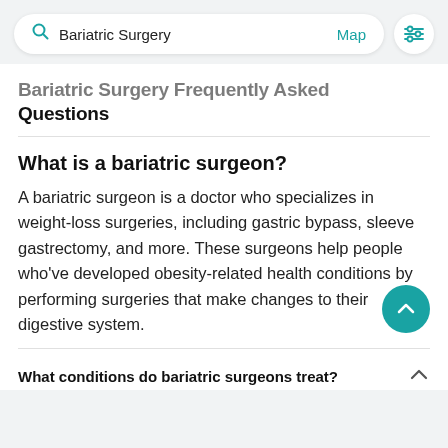[Figure (screenshot): Search bar with 'Bariatric Surgery' text, a 'Map' link in teal, and a filter icon button on the right]
Bariatric Surgery Frequently Asked Questions
What is a bariatric surgeon?
A bariatric surgeon is a doctor who specializes in weight-loss surgeries, including gastric bypass, sleeve gastrectomy, and more. These surgeons help people who’ve developed obesity-related health conditions by performing surgeries that make changes to their digestive system.
What conditions do bariatric surgeons treat?